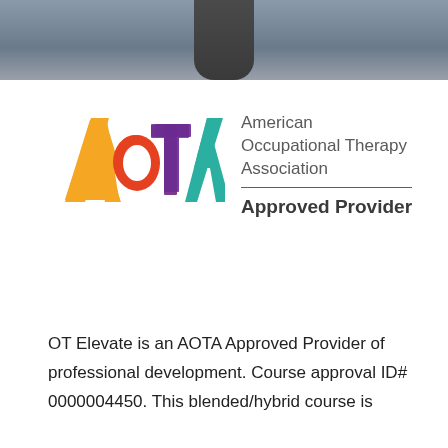[Figure (photo): Partial photo of person in gray clothing, cropped at top of page as a banner]
[Figure (logo): AOTA (American Occupational Therapy Association) Approved Provider logo with colorful letter marks and text]
OT Elevate is an AOTA Approved Provider of professional development. Course approval ID# 0000004450. This blended/hybrid course is